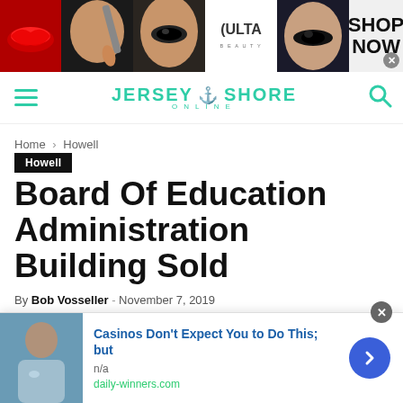[Figure (photo): Cosmetics ad banner at top with makeup imagery (red lips, brush, eyes), Ulta Beauty logo, and SHOP NOW text]
JERSEY SHORE ONLINE
Home › Howell
Howell
Board Of Education Administration Building Sold
By Bob Vosseller - November 7, 2019
[Figure (photo): Bottom advertisement: Casinos Don't Expect You to Do This; but - n/a - daily-winners.com, with a photo of a person and a blue arrow button]